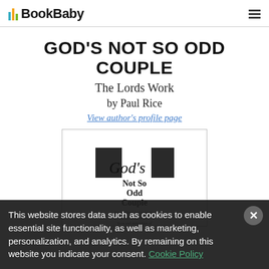BookBaby
GOD'S NOT SO ODD COUPLE
The Lords Work
by Paul Rice
View author's profile page
[Figure (illustration): Book cover for God's Not So Odd Couple showing title text and dark decorative squares]
This website stores data such as cookies to enable essential site functionality, as well as marketing, personalization, and analytics. By remaining on this website you indicate your consent. Cookie Policy